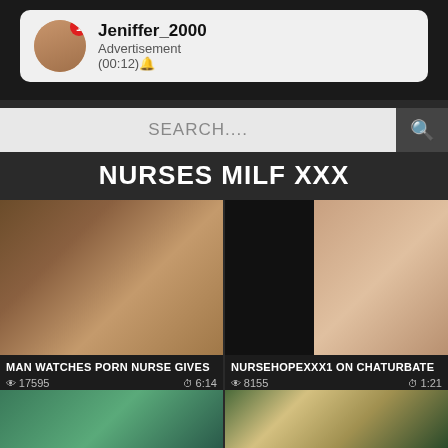[Figure (screenshot): Website screenshot showing a video content page with advertisement notification, search bar, page title 'NURSES MILF XXX', and video thumbnails with titles and view counts]
Jeniffer_2000
Advertisement
(00:12)🔔
SEARCH....
NURSES MILF XXX
MAN WATCHES PORN NURSE GIVES
👁 17595   ⏱ 6:14
NURSEHOPEXXX1 ON CHATURBATE
👁 8155   ⏱ 1:21